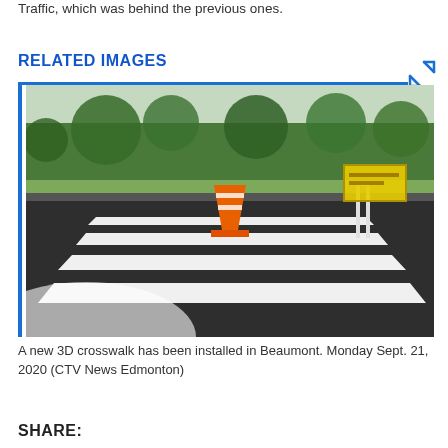Traffic, which was behind the previous ones.
RELATED IMAGES
[Figure (photo): A new 3D crosswalk installed in Beaumont. The photo shows white painted zebra crossing stripes on a dark asphalt road, with an orange traffic cone in the middle and a construction sign on the right. Trees and grass are visible in the background.]
A new 3D crosswalk has been installed in Beaumont. Monday Sept. 21, 2020 (CTV News Edmonton)
SHARE: